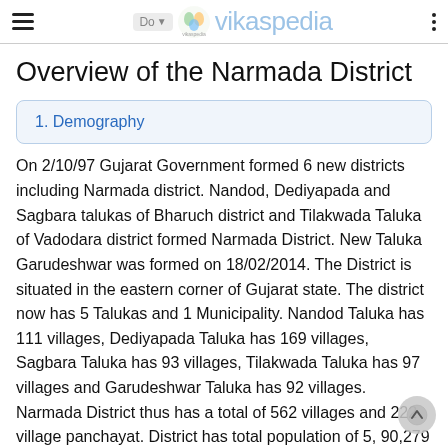vikaspedia
Overview of the Narmada District
1. Demography
On 2/10/97 Gujarat Government formed 6 new districts including Narmada district. Nandod, Dediyapada and Sagbara talukas of Bharuch district and Tilakwada Taluka of Vadodara district formed Narmada District. New Taluka Garudeshwar was formed on 18/02/2014. The District is situated in the eastern corner of Gujarat state. The district now has 5 Talukas and 1 Municipality. Nandod Taluka has 111 villages, Dediyapada Taluka has 169 villages, Sagbara Taluka has 93 villages, Tilakwada Taluka has 97 villages and Garudeshwar Taluka has 92 villages. Narmada District thus has a total of 562 villages and 222 village panchayat. District has total population of 5, 90,279 according to 2011 census.